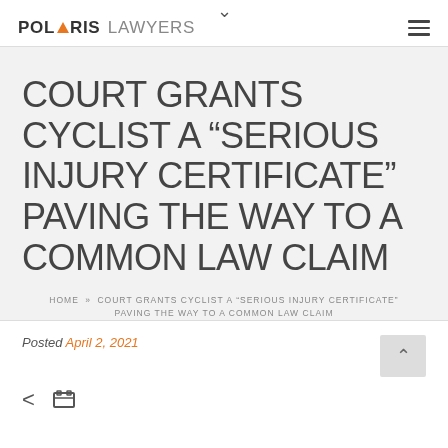POLARIS LAWYERS
COURT GRANTS CYCLIST A “SERIOUS INJURY CERTIFICATE” PAVING THE WAY TO A COMMON LAW CLAIM
HOME » COURT GRANTS CYCLIST A “SERIOUS INJURY CERTIFICATE” PAVING THE WAY TO A COMMON LAW CLAIM
Posted April 2, 2021